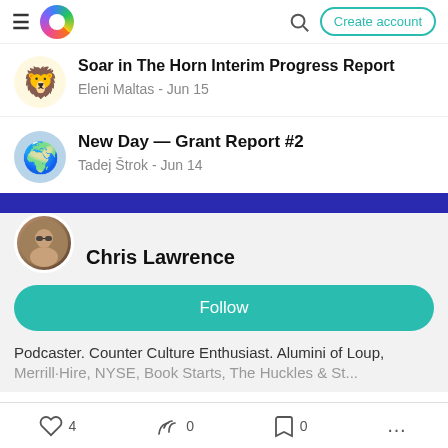Navigation bar with hamburger menu, logo, search icon, and Create account button
Soar in The Horn Interim Progress Report
Eleni Maltas - Jun 15
New Day — Grant Report #2
Tadej Štrok - Jun 14
Chris Lawrence
Follow
Podcaster. Counter Culture Enthusiast. Alumini of Loup, Merrill-Hire, NYSE, Book Starts, The Huckles & St...
4  0  0  ...